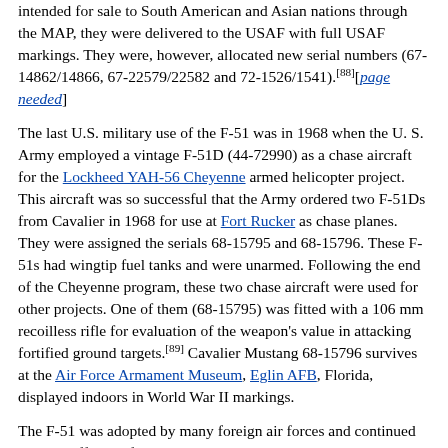intended for sale to South American and Asian nations through the MAP, they were delivered to the USAF with full USAF markings. They were, however, allocated new serial numbers (67-14862/14866, 67-22579/22582 and 72-1526/1541).[88][page needed]
The last U.S. military use of the F-51 was in 1968 when the U. S. Army employed a vintage F-51D (44-72990) as a chase aircraft for the Lockheed YAH-56 Cheyenne armed helicopter project. This aircraft was so successful that the Army ordered two F-51Ds from Cavalier in 1968 for use at Fort Rucker as chase planes. They were assigned the serials 68-15795 and 68-15796. These F-51s had wingtip fuel tanks and were unarmed. Following the end of the Cheyenne program, these two chase aircraft were used for other projects. One of them (68-15795) was fitted with a 106 mm recoilless rifle for evaluation of the weapon's value in attacking fortified ground targets.[89] Cavalier Mustang 68-15796 survives at the Air Force Armament Museum, Eglin AFB, Florida, displayed indoors in World War II markings.
The F-51 was adopted by many foreign air forces and continued to be an effective fighter into the mid-1980s with smaller air arms. The last Mustang ever downed in battle occurred during Operation Power Pack in the Dominican Republic in 1965, with the last aircraft finally being retired by the Dominican Air Force in 1984.[90]